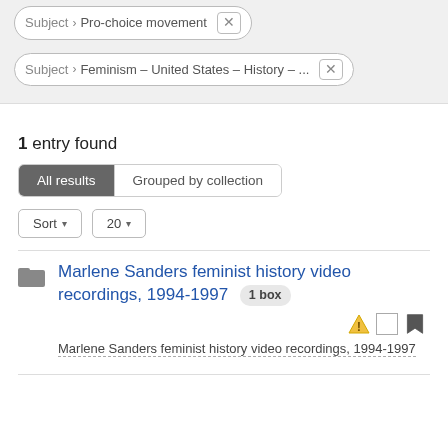Subject › Pro-choice movement ✕
Subject › Feminism -- United States -- History --... ✕
1 entry found
All results | Grouped by collection
Sort ▾  20 ▾
Marlene Sanders feminist history video recordings, 1994-1997  1 box
Marlene Sanders feminist history video recordings, 1994-1997